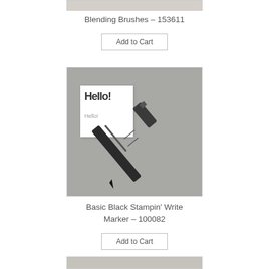[Figure (photo): Top portion of a product photo (cropped, light gray/beige background), partially visible at top of page]
Blending Brushes – 153611
Add to Cart
[Figure (photo): Photo of a Basic Black Stampin' Write Marker pen with cap off, resting diagonally on a gray surface next to a white card with 'Hello!' written in large and small text]
Basic Black Stampin' Write Marker – 100082
Add to Cart
[Figure (photo): Bottom portion of another product photo, partially visible at bottom of page]